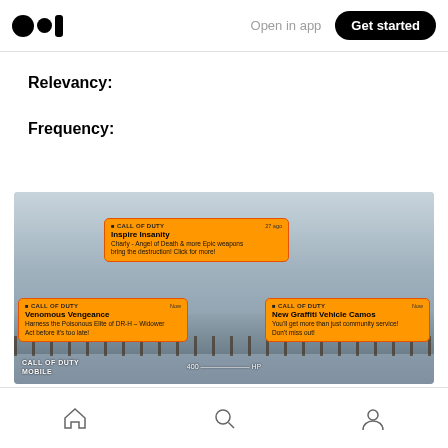Medium logo | Open in app | Get started
Relevancy:
Frequency:
[Figure (screenshot): Screenshot of Call of Duty Mobile gameplay with three orange push notification overlays. Top notification: 'CALL OF DUTY - Inspire Insanity - Charly, Angel of Death & more Epic weapons bring the destruction! Click for more!' Bottom-left notification: 'CALL OF DUTY - Venomous Vengeance - Harness the Poisonous Elite of DR-H - Widower Act before it's too late!' Bottom-right notification: 'CALL OF DUTY - New Graffiti Vehicle Camos - You'll get more than just community service! Don't miss out!']
Home | Search | Profile